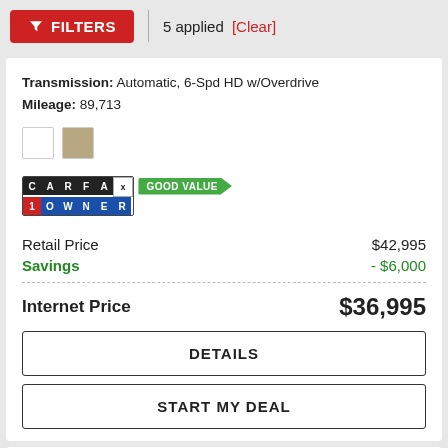FILTERS  5 applied [Clear]
Transmission: Automatic, 6-Spd HD w/Overdrive
Mileage: 89,713
[Figure (logo): CARFAX 1 Owner Good Value badge]
Retail Price  $42,995
Savings  - $6,000
Internet Price  $36,995
DETAILS
START MY DEAL